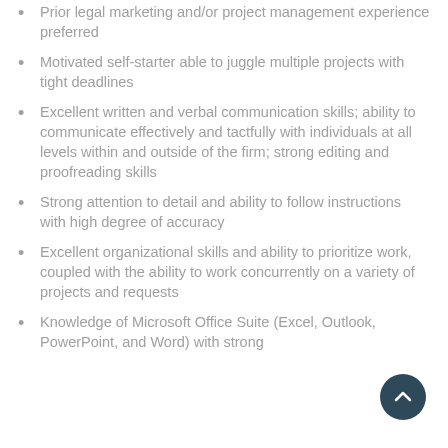Prior legal marketing and/or project management experience preferred
Motivated self-starter able to juggle multiple projects with tight deadlines
Excellent written and verbal communication skills; ability to communicate effectively and tactfully with individuals at all levels within and outside of the firm; strong editing and proofreading skills
Strong attention to detail and ability to follow instructions with high degree of accuracy
Excellent organizational skills and ability to prioritize work, coupled with the ability to work concurrently on a variety of projects and requests
Knowledge of Microsoft Office Suite (Excel, Outlook, PowerPoint, and Word) with strong